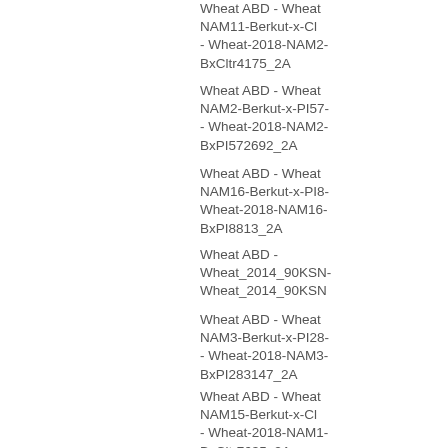Wheat ABD - Wheat NAM11-Berkut-x-Cl- - Wheat-2018-NAM2- BxCltr4175_2A
Wheat ABD - Wheat NAM2-Berkut-x-PI57- - Wheat-2018-NAM2- BxPI572692_2A
Wheat ABD - Wheat NAM16-Berkut-x-PI8- Wheat-2018-NAM16- BxPI8813_2A
Wheat ABD - Wheat_2014_90KSN- Wheat_2014_90KSN
Wheat ABD - Wheat NAM3-Berkut-x-PI28- - Wheat-2018-NAM3- BxPI283147_2A
Wheat ABD - Wheat NAM15-Berkut-x-Cl- - Wheat-2018-NAM1- BxCltr7635_2A
Wheat ABD - Wheat NAM27-Berkut-x- PI192569 - Wheat-2- NAM27-BxPI192569